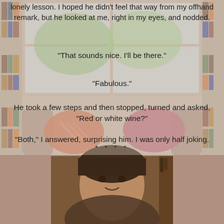lonely lesson. I hoped he didn't feel that way from my offhand remark, but he looked at me, right in my eyes, and nodded.
“That sounds nice. I’ll be there.”
“Fabulous.”
He took a few steps and then stopped, turned and asked, “Red or white wine?”
“Both,” I answered, surprising him. I was only half joking.
As he walked back to his cubicle, I had to stop myself from rubbing my hands together like Snidely Whiplash—who I didn’t resemble in this context at all. I was using my powers for good. This time.
* * * *
[Figure (photo): Portrait photo of a woman with dark hair, smiling slightly, in a warmly lit indoor setting with bookshelves in the background]